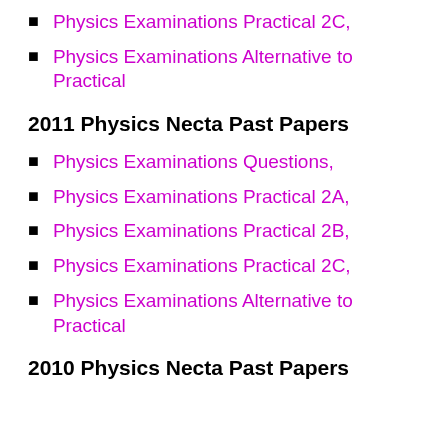Physics Examinations Practical 2C,
Physics Examinations Alternative to Practical
2011 Physics Necta Past Papers
Physics Examinations Questions,
Physics Examinations Practical 2A,
Physics Examinations Practical 2B,
Physics Examinations Practical 2C,
Physics Examinations Alternative to Practical
2010 Physics Necta Past Papers